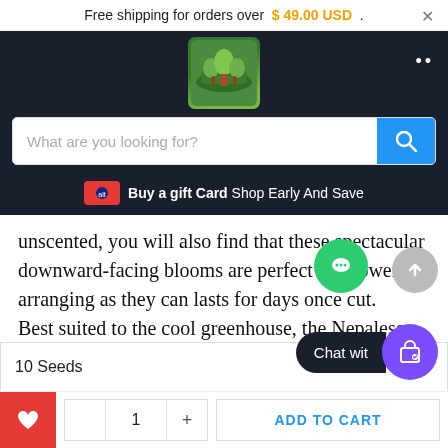Free shipping for orders over $ 49.00 USD .
[Figure (logo): Green garden/farm logo with plants and landscape]
[Figure (screenshot): Search bar with placeholder 'What are you looking for?' and blue search button]
Buy a gift Card Shop Early And Save
unscented, you will also find that these spectacular downward-facing blooms are perfect for flower arranging as they can lasts for days once cut. Best suited to the cool greenhouse, the Nepalese Lily will also happily grow outside so long it isnâ t to extremes of temperat nd
USD
10 Seeds
1
+
ADD TO CART
Chat wit